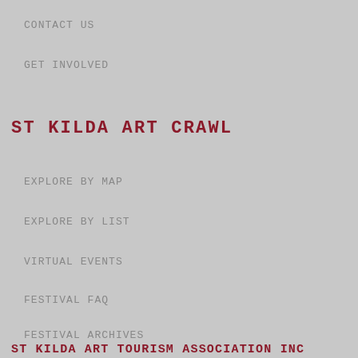CONTACT US
GET INVOLVED
ST KILDA ART CRAWL
EXPLORE BY MAP
EXPLORE BY LIST
VIRTUAL EVENTS
FESTIVAL FAQ
FESTIVAL ARCHIVES
ST KILDA ART TOURISM ASSOCIATION INC